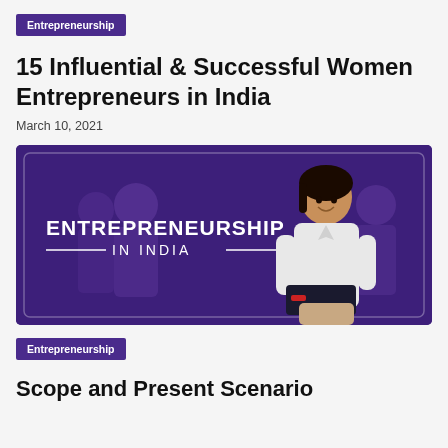Entrepreneurship
15 Influential & Successful Women Entrepreneurs in India
March 10, 2021
[Figure (illustration): Purple banner with text 'ENTREPRENEURSHIP IN INDIA' and a woman holding a binder, with blurred women in background]
Entrepreneurship
Scope and Present Scenario